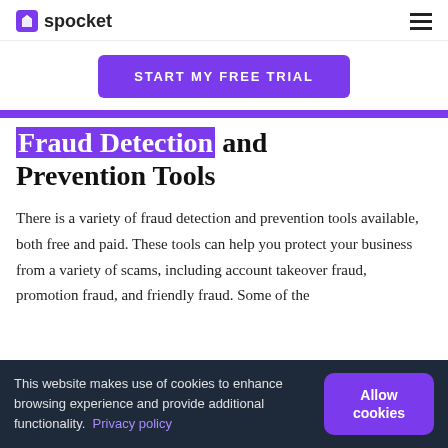spocket
START MY FREE TRIAL
Fraud Detection and Prevention Tools
There is a variety of fraud detection and prevention tools available, both free and paid. These tools can help you protect your business from a variety of scams, including account takeover fraud, promotion fraud, and friendly fraud. Some of the
This website makes use of cookies to enhance browsing experience and provide additional functionality. Privacy policy
Allow cookies